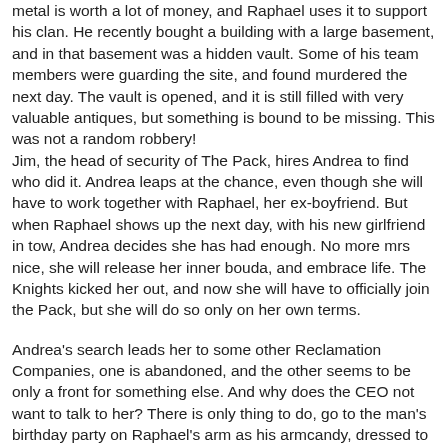metal is worth a lot of money, and Raphael uses it to support his clan. He recently bought a building with a large basement, and in that basement was a hidden vault. Some of his team members were guarding the site, and found murdered the next day. The vault is opened, and it is still filled with very valuable antiques, but something is bound to be missing. This was not a random robbery! Jim, the head of security of The Pack, hires Andrea to find who did it. Andrea leaps at the chance, even though she will have to work together with Raphael, her ex-boyfriend. But when Raphael shows up the next day, with his new girlfriend in tow, Andrea decides she has had enough. No more mrs nice, she will release her inner bouda, and embrace life. The Knights kicked her out, and now she will have to officially join the Pack, but she will do so only on her own terms.
Andrea's search leads her to some other Reclamation Companies, one is abandoned, and the other seems to be only a front for something else. And why does the CEO not want to talk to her? There is only thing to do, go to the man's birthday party on Raphael's arm as his armcandy, dressed to kill, and search his house. But they might find more than